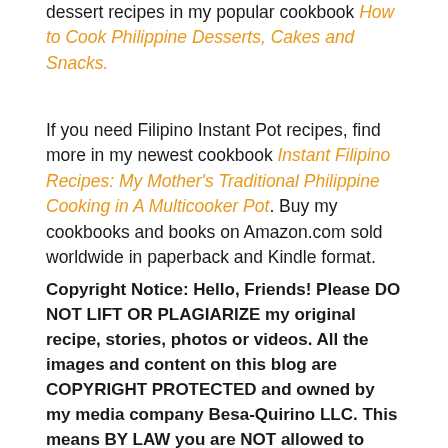dessert recipes in my popular cookbook How to Cook Philippine Desserts, Cakes and Snacks.
If you need Filipino Instant Pot recipes, find more in my newest cookbook Instant Filipino Recipes: My Mother's Traditional Philippine Cooking in A Multicooker Pot. Buy my cookbooks and books on Amazon.com sold worldwide in paperback and Kindle format.
Copyright Notice: Hello, Friends! Please DO NOT LIFT OR PLAGIARIZE my original recipe, stories, photos or videos. All the images and content on this blog are COPYRIGHT PROTECTED and owned by my media company Besa-Quirino LLC. This means BY LAW you are NOT allowed to copy, scrape, lift, frame, plagiarize or use my photos, essays, stories and recipe content on your websites, books, films, television shows, videos, without my permission. If you